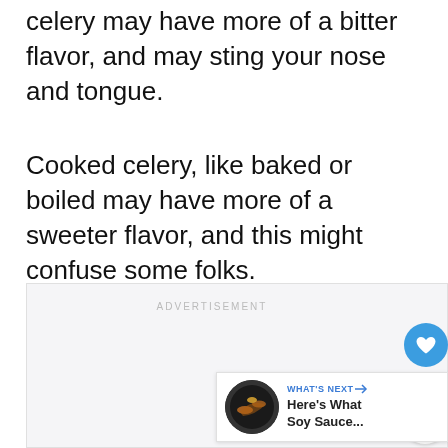celery may have more of a bitter flavor, and may sting your nose and tongue.
Cooked celery, like baked or boiled may have more of a sweeter flavor, and this might confuse some folks.
[Figure (other): Advertisement placeholder box with ADVERTISEMENT label, a heart/like button (blue circle with heart icon), a count of 3, a share button, and a 'WHAT'S NEXT' card showing 'Here's What Soy Sauce...' with a circular thumbnail image.]